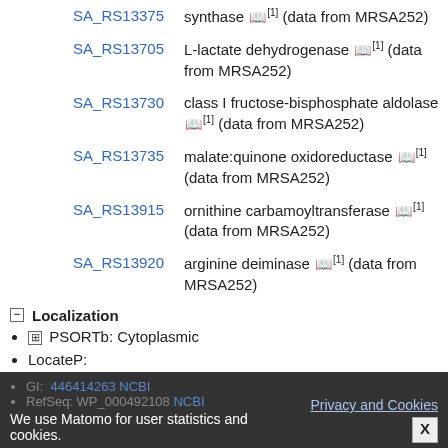| Gene | Description |
| --- | --- |
| SA_RS13375 | synthase 📖[1] (data from MRSA252) |
| SA_RS13705 | L-lactate dehydrogenase 📖[1] (data from MRSA252) |
| SA_RS13730 | class I fructose-bisphosphate aldolase 📖[1] (data from MRSA252) |
| SA_RS13735 | malate:quinone oxidoreductase 📖[1] (data from MRSA252) |
| SA_RS13915 | ornithine carbamoyltransferase 📖[1] (data from MRSA252) |
| SA_RS13920 | arginine deiminase 📖[1] (data from MRSA252) |
Localization
PSORTb: Cytoplasmic
LocateP:
SignalP: no predicted signal peptide
predicted transmembrane helices (TMHMM): 2
We use Matomo for user statistics and cookies. Privacy and Cookies X